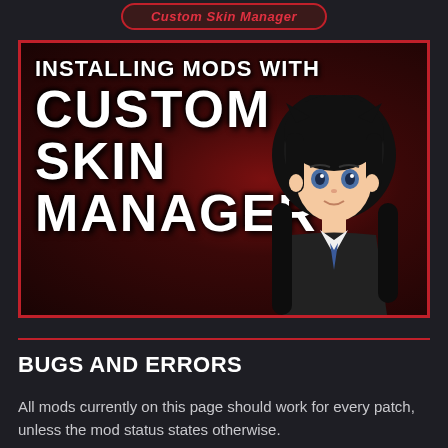Custom Skin Manager
[Figure (illustration): Thumbnail image for a video titled 'Installing Mods With Custom Skin Manager'. Dark red gradient background with bold white text on the left and an anime-style character with black hair on the right.]
BUGS AND ERRORS
All mods currently on this page should work for every patch, unless the mod status states otherwise.